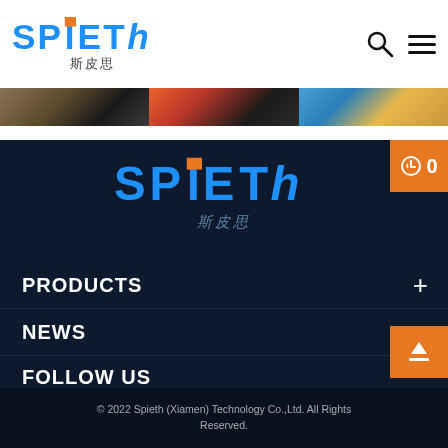[Figure (logo): SPIETH logo with blue text and orange accent on I letter, with Chinese characters 斯皮思 below, on white background]
[Figure (photo): Three banner images side by side showing industrial/product photography]
[Figure (logo): SPIETH logo large on dark navy background with Chinese characters 斯皮思 below in steel blue]
PRODUCTS
NEWS
FOLLOW US
© 2022 Spieth (Xiamen) Technology Co.,Ltd. All Rights Reserved.